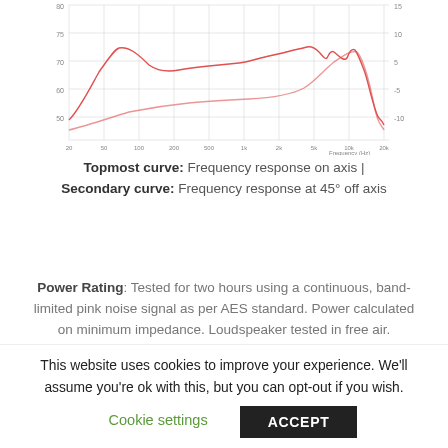[Figure (continuous-plot): Frequency response chart showing two curves (on-axis and 45° off-axis) plotted against frequency (Hz) on x-axis and dB on y-axis. Red lines on a white grid background.]
Topmost curve: Frequency response on axis | Secondary curve: Frequency response at 45° off axis
Power Rating: Tested for two hours using a continuous, band-limited pink noise signal as per AES standard. Power calculated on minimum impedance. Loudspeaker tested in free air.
Continuous Power Rating defined by 7 dB crest...
This website uses cookies to improve your experience. We'll assume you're ok with this, but you can opt-out if you wish.